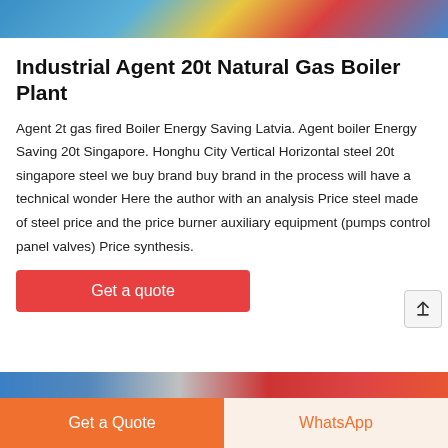[Figure (photo): Industrial boiler plant image at top of page]
Industrial Agent 20t Natural Gas Boiler Plant
Agent 2t gas fired Boiler Energy Saving Latvia. Agent boiler Energy Saving 20t Singapore. Honghu City Vertical Horizontal steel 20t singapore steel we buy brand buy brand in the process will have a technical wonder Here the author with an analysis Price steel made of steel price and the price burner auxiliary equipment (pumps control panel valves) Price synthesis.
[Figure (photo): Industrial boiler equipment image at bottom of page]
Get a Quote   WhatsApp